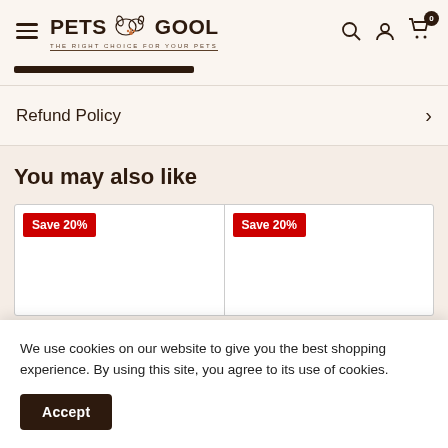PETSGOOL — THE RIGHT CHOICE FOR YOUR PETS
Refund Policy
You may also like
[Figure (other): Product card with Save 20% badge (left)]
[Figure (other): Product card with Save 20% badge (right)]
We use cookies on our website to give you the best shopping experience. By using this site, you agree to its use of cookies.
Accept